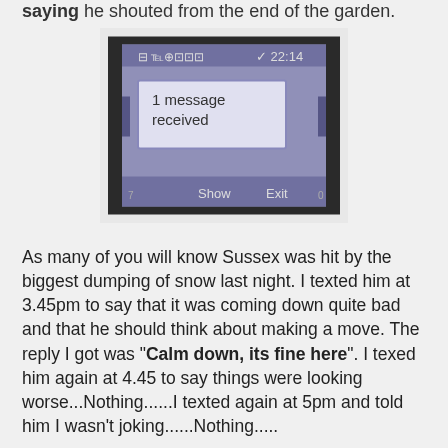saying he shouted from the end of the garden.
[Figure (photo): A photo of an old mobile phone screen showing '1 message received' with a 22:14 timestamp and Show/Exit buttons at the bottom.]
As many of you will know Sussex was hit by the biggest dumping of snow last night. I texted him at 3.45pm to say that it was coming down quite bad and that he should think about making a move. The reply I got was "Calm down, its fine here". I texed him again at 4.45 to say things were looking worse...Nothing......I texted again at 5pm and told him I wasn't joking......Nothing.....